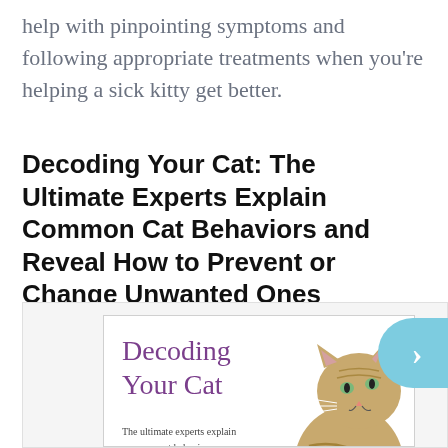help with pinpointing symptoms and following appropriate treatments when you're helping a sick kitty get better.
Decoding Your Cat: The Ultimate Experts Explain Common Cat Behaviors and Reveal How to Prevent or Change Unwanted Ones
[Figure (photo): Book cover of 'Decoding Your Cat' showing the title in purple text with a tabby cat looking upward, and subtitle text describing the book's content about cat behaviors.]